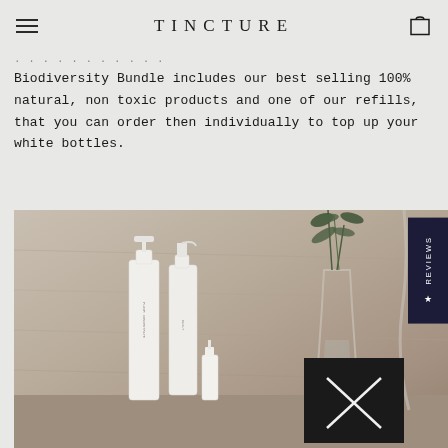TINCTURE
Biodiversity Bundle includes our best selling 100% natural, non toxic products and one of our refills, that you can order then individually to top up your white bottles.
[Figure (photo): Product photo showing white Tincture branded bottles (floor concentrate and other products) alongside a glass vase with green plant stems on a wooden background. A dark close button with X is overlaid in the bottom right area.]